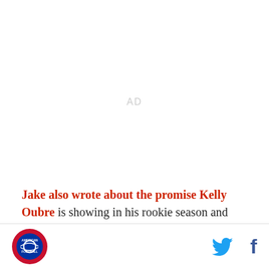[Figure (other): AD placeholder text centered in upper portion of page]
Jake also wrote about the promise Kelly Oubre is showing in his rookie season and that awesome sign one fan put up during the Bulls game on the day Metrorail was shut down.
[Figure (logo): Sports team logo circle in footer left]
[Figure (other): Twitter bird icon and Facebook f icon in footer right]